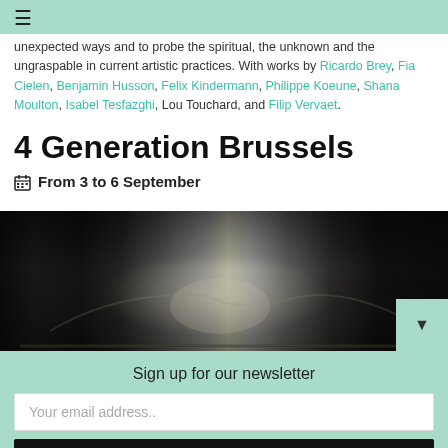≡
unexpected ways and to probe the spiritual, the unknown and the ungraspable in current artistic practices. With works by Ricardo Brey, Fia Cielen, Benjamin Husson, Felix Kindermann, Philippe Koeune, Shana Moulton, Isabel Tesfazghi, Lou Touchard, and Filip Vervaet.
4 Generation Brussels
From 3 to 6 September
[Figure (photo): Dark industrial photograph showing a dimly lit metallic/concrete interior space with a bright central glow, featuring riveted metal surfaces and a dark atmospheric environment.]
Sign up for our newsletter
Your email address..
Subscribe